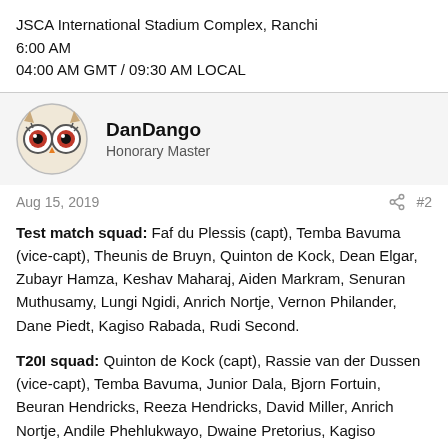JSCA International Stadium Complex, Ranchi
6:00 AM
04:00 AM GMT / 09:30 AM LOCAL
DanDango
Honorary Master
Aug 15, 2019
#2
Test match squad: Faf du Plessis (capt), Temba Bavuma (vice-capt), Theunis de Bruyn, Quinton de Kock, Dean Elgar, Zubayr Hamza, Keshav Maharaj, Aiden Markram, Senuran Muthusamy, Lungi Ngidi, Anrich Nortje, Vernon Philander, Dane Piedt, Kagiso Rabada, Rudi Second.
T20I squad: Quinton de Kock (capt), Rassie van der Dussen (vice-capt), Temba Bavuma, Junior Dala, Bjorn Fortuin, Beuran Hendricks, Reeza Hendricks, David Miller, Anrich Nortje, Andile Phehlukwayo, Dwaine Pretorius, Kagiso Rabada, Tabraiz Shamsi, Jon-Jon Smuts.